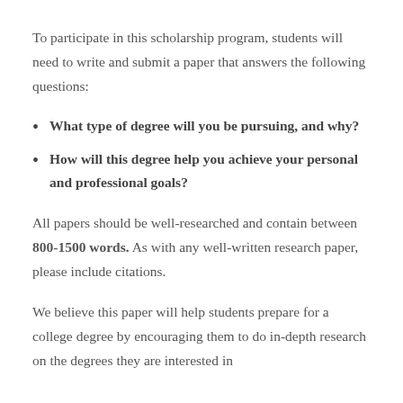To participate in this scholarship program, students will need to write and submit a paper that answers the following questions:
What type of degree will you be pursuing, and why?
How will this degree help you achieve your personal and professional goals?
All papers should be well-researched and contain between 800-1500 words. As with any well-written research paper, please include citations.
We believe this paper will help students prepare for a college degree by encouraging them to do in-depth research on the degrees they are interested in